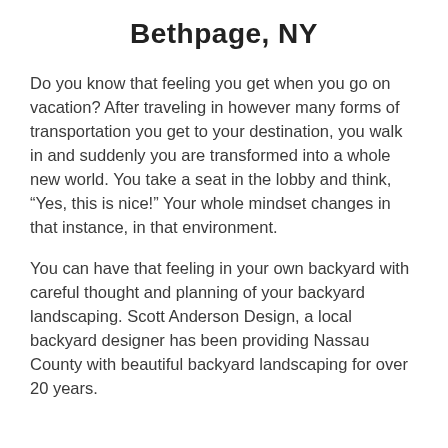Bethpage, NY
Do you know that feeling you get when you go on vacation? After traveling in however many forms of transportation you get to your destination, you walk in and suddenly you are transformed into a whole new world. You take a seat in the lobby and think, “Yes, this is nice!” Your whole mindset changes in that instance, in that environment.
You can have that feeling in your own backyard with careful thought and planning of your backyard landscaping. Scott Anderson Design, a local backyard designer has been providing Nassau County with beautiful backyard landscaping for over 20 years.